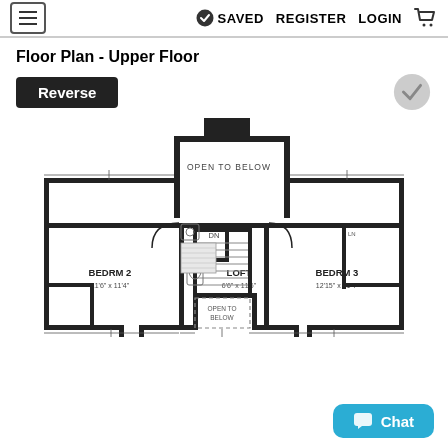≡  ✓ SAVED  REGISTER  LOGIN  🛒
Floor Plan - Upper Floor
[Figure (engineering-diagram): Upper floor plan showing BEDRM 2 (11'6" x 11'4"), BEDRM 3 (12'15" x 11'4"), LOFT (6'6" x 11'6"), Open to Below area, staircase with DN label, bathroom, and hallway connections.]